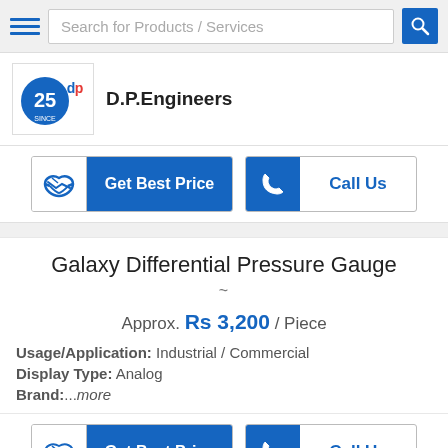Search for Products / Services
D.P.Engineers
Get Best Price | Call Us
Galaxy Differential Pressure Gauge
Approx. Rs 3,200 / Piece
Usage/Application: Industrial / Commercial
Display Type: Analog
Brand:...more
Get Best Price | Call Us
Galaxy Make Magneholic Gauge